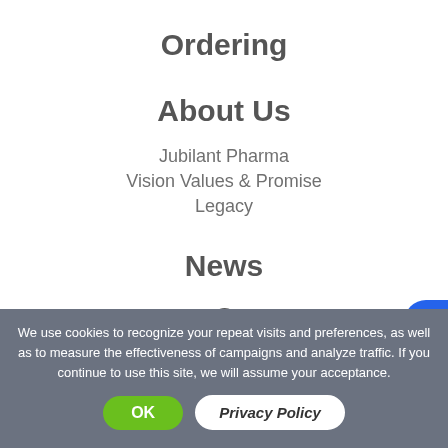Ordering
About Us
Jubilant Pharma
Vision Values & Promise
Legacy
News
We use cookies to recognize your repeat visits and preferences, as well as to measure the effectiveness of campaigns and analyze traffic. If you continue to use this site, we will assume your acceptance.
OK
Privacy Policy